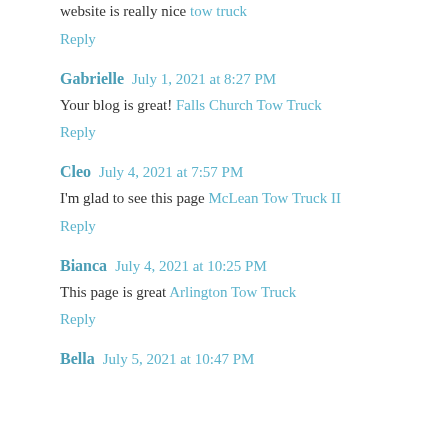website is really nice tow truck
Reply
Gabrielle  July 1, 2021 at 8:27 PM
Your blog is great! Falls Church Tow Truck
Reply
Cleo  July 4, 2021 at 7:57 PM
I'm glad to see this page McLean Tow Truck II
Reply
Bianca  July 4, 2021 at 10:25 PM
This page is great Arlington Tow Truck
Reply
Bella  July 5, 2021 at 10:47 PM